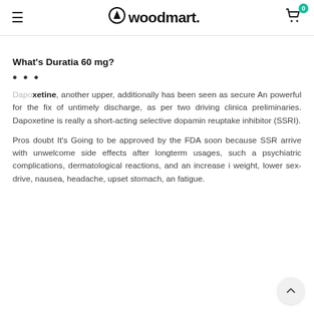woodmart.
What's Duratia 60 mg?
• • •
Dapoxetine, another upper, additionally has been seen as secure And powerful for the fix of untimely discharge, as per two driving clinical preliminaries. Dapoxetine is really a short-acting selective dopamine reuptake inhibitor (SSRI).
Pros doubt It's Going to be approved by the FDA soon because SSRIs arrive with unwelcome side effects after longterm usages, such as psychiatric complications, dermatological reactions, and an increase in weight, lower sex-drive, nausea, headache, upset stomach, and fatigue.